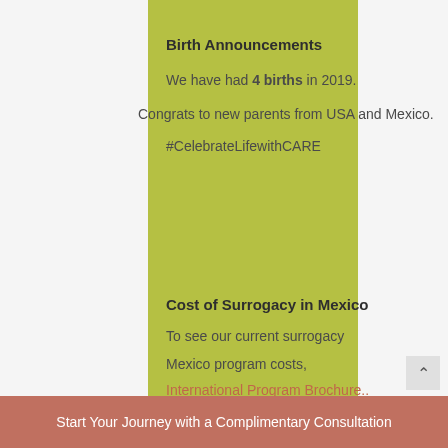Birth Announcements
We have had 4 births in 2019.
Congrats to new parents from USA and Mexico.
#CelebrateLifewithCARE
Cost of Surrogacy in Mexico
To see our current surrogacy
Mexico program costs,
International Program Brochure..
Start Your Journey with a Complimentary Consultation